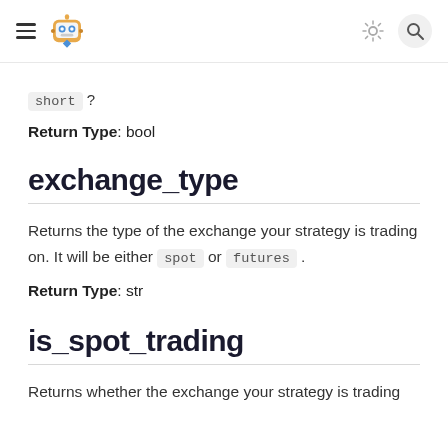Navigation header with robot logo, hamburger menu, sun icon, and search icon
short ?
Return Type: bool
exchange_type
Returns the type of the exchange your strategy is trading on. It will be either spot or futures .
Return Type: str
is_spot_trading
Returns whether the exchange your strategy is trading